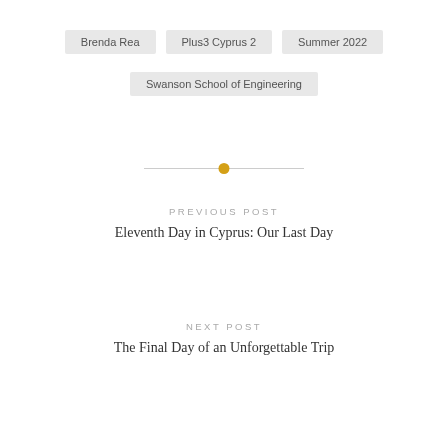Brenda Rea
Plus3 Cyprus 2
Summer 2022
Swanson School of Engineering
PREVIOUS POST
Eleventh Day in Cyprus: Our Last Day
NEXT POST
The Final Day of an Unforgettable Trip